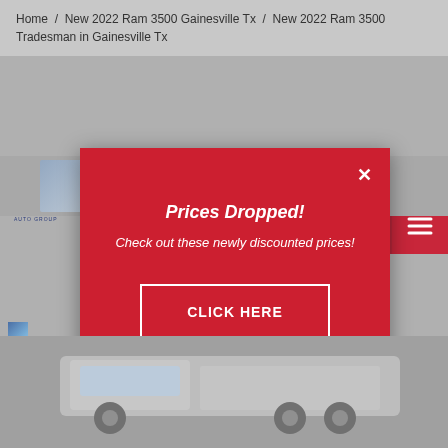Home / New 2022 Ram 3500 Gainesville Tx / New 2022 Ram 3500 Tradesman in Gainesville Tx
[Figure (screenshot): Glenn Polk Auto Group dealership website screenshot with navigation bar showing logo, location/clock/phone icons, search button, and hamburger menu button. Background shows a grey overlay with partial vehicle images.]
Prices Dropped!
Check out these newly discounted prices!
CLICK HERE